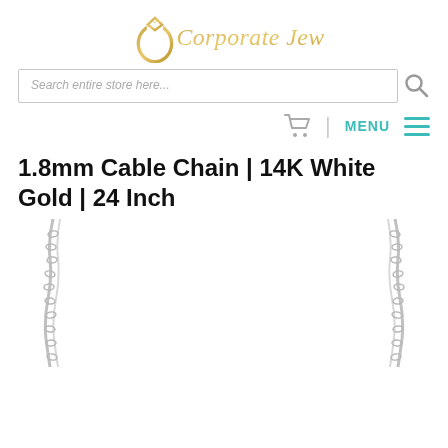[Figure (logo): Corporate Jewelers logo with a stylized ring and diamond icon in gold, accompanied by the text 'Corporate Jewelers' in gold serif font]
Search entire store here...
MENU
1.8mm Cable Chain | 14K White Gold | 24 Inch
[Figure (photo): Product photo of a 1.8mm cable chain in 14K white gold, showing the chain against a white background with the chain draping in a V shape]